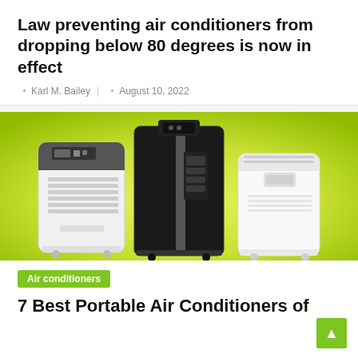Law preventing air conditioners from dropping below 80 degrees is now in effect
Karl M. Bailey  |  August 10, 2022
[Figure (photo): Three portable air conditioners shown side by side on a bright green-yellow gradient background. Left unit is white with a gray top panel, center unit is black and tall, right unit is white and compact.]
Air conditioners
7 Best Portable Air Conditioners of